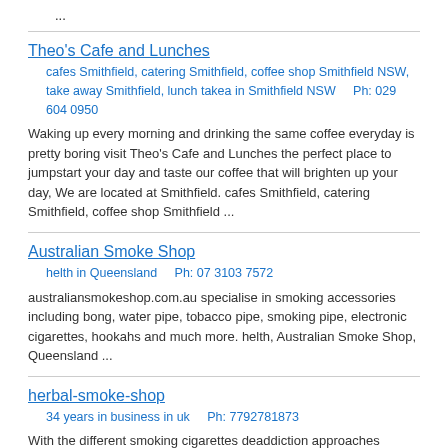...
Theo's Cafe and Lunches
cafes Smithfield, catering Smithfield, coffee shop Smithfield NSW, take away Smithfield, lunch takea in Smithfield NSW    Ph: 029 604 0950
Waking up every morning and drinking the same coffee everyday is pretty boring visit Theo's Cafe and Lunches the perfect place to jumpstart your day and taste our coffee that will brighten up your day, We are located at Smithfield. cafes Smithfield, catering Smithfield, coffee shop Smithfield ...
Australian Smoke Shop
helth in Queensland    Ph: 07 3103 7572
australiansmokeshop.com.au specialise in smoking accessories including bong, water pipe, tobacco pipe, smoking pipe, electronic cigarettes, hookahs and much more. helth, Australian Smoke Shop, Queensland ...
herbal-smoke-shop
34 years in business in uk    Ph: 7792781873
With the different smoking cigarettes deaddiction approaches accessible, the particular stop smoking teeth is now quite popular recently. 34 years in business, herbal-smoke-shop, uk ...
Delivery Hunter